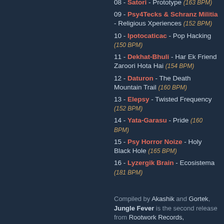08 - Satori - Prototype (163 BPM)
09 - Psy4Tecks & Schranz Militia - Religious Xperiences (152 BPM)
10 - Ipotocaticac - Pop Hacking (150 BPM)
11 - Dekhat-Bhuli - Har Ek Friend Zaroori Hota Hai (154 BPM)
12 - Daturon - The Death Mountain Trail (160 BPM)
13 - Elepsy - Twisted Frequency (152 BPM)
14 - Yata-Garasu - Pride (160 BPM)
15 - Psy Horror Noize - Holy Black Hole (165 BPM)
16 - Lyzergik Brain - Ecosistema (181 BPM)
Compiled by Akashik and Gortek, Jungle Fever is the second release from Rootwork Records,